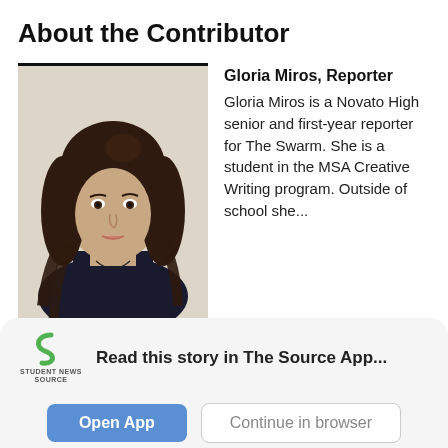About the Contributor
[Figure (photo): Headshot photo of Gloria Miros, a young woman with long dark curly hair, wearing a dark top, against a light beige background.]
Gloria Miros, Reporter
Gloria Miros is a Novato High senior and first-year reporter for The Swarm. She is a student in the MSA Creative Writing program. Outside of school she...
[Figure (logo): Student News Source logo — green S shape with text STUDENT NEWS SOURCE below]
Read this story in The Source App...
Open App
Continue in browser